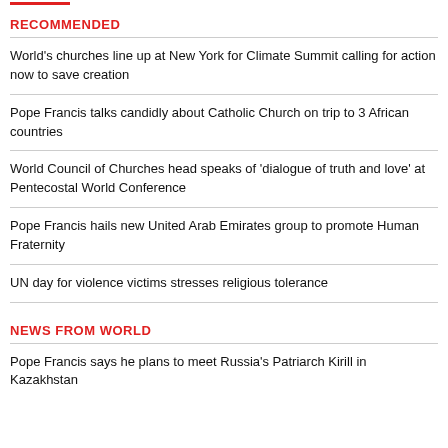RECOMMENDED
World's churches line up at New York for Climate Summit calling for action now to save creation
Pope Francis talks candidly about Catholic Church on trip to 3 African countries
World Council of Churches head speaks of 'dialogue of truth and love' at Pentecostal World Conference
Pope Francis hails new United Arab Emirates group to promote Human Fraternity
UN day for violence victims stresses religious tolerance
NEWS FROM WORLD
Pope Francis says he plans to meet Russia's Patriarch Kirill in Kazakhstan